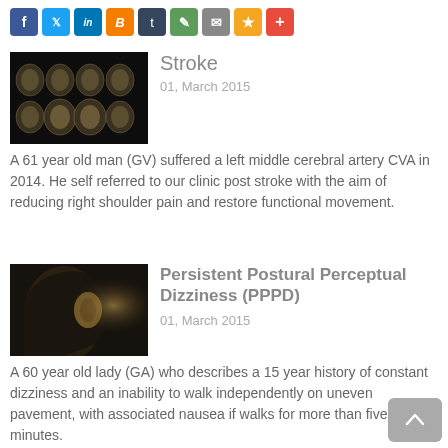[Figure (other): Social media share icons bar: Facebook, Twitter, LinkedIn, Blogger, Tumblr, Print, Email, Bookmark, Plus]
[Figure (photo): Brain MRI scan images showing multiple cross-sections, dark background with golden-toned brain slices]
Stroke
01, March 2015
A 61 year old man (GV) suffered a left middle cerebral artery CVA in 2014. He self referred to our clinic post stroke with the aim of reducing right shoulder pain and restore functional movement.
Read More...
[Figure (photo): Profile silhouette of a human head with an ear visible, illuminated from behind, dark moody background]
Persistent Postural Perceptual Dizziness (PPPD)
01, March 2015
A 60 year old lady (GA) who describes a 15 year history of constant dizziness and an inability to walk independently on uneven pavement, with associated nausea if walks for more than five minutes.
Read More...